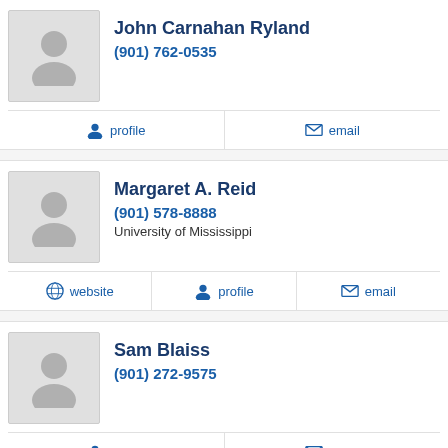John Carnahan Ryland
(901) 762-0535
profile   email
Margaret A. Reid
(901) 578-8888
University of Mississippi
website   profile   email
Sam Blaiss
(901) 272-9575
profile   email